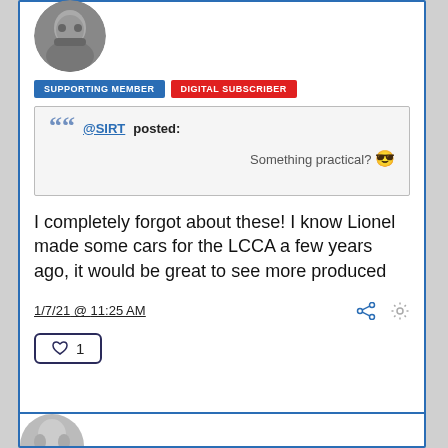[Figure (photo): User avatar photo - person with beard]
SUPPORTING MEMBER   DIGITAL SUBSCRIBER
@SIRT posted:
Something practical? 😎
I completely forgot about these! I know Lionel made some cars for the LCCA a few years ago, it would be great to see more produced
1/7/21 @ 11:25 AM
♥  1
[Figure (photo): Second user avatar photo - partial view]